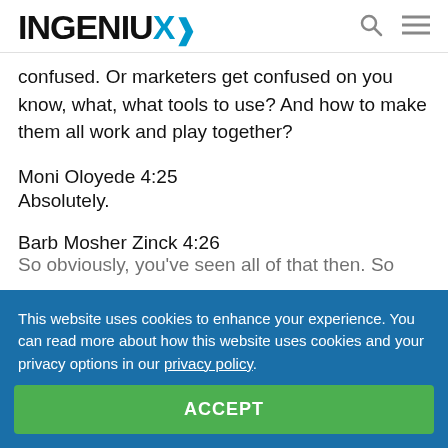INGENIUX
confused. Or marketers get confused on you know, what, what tools to use? And how to make them all work and play together?
Moni Oloyede 4:25
Absolutely.
Barb Mosher Zinck 4:26
So obviously, you've seen all of that then. So when
This website uses cookies to enhance your experience. You can read more about how this website uses cookies and your privacy options in our privacy policy.
ACCEPT